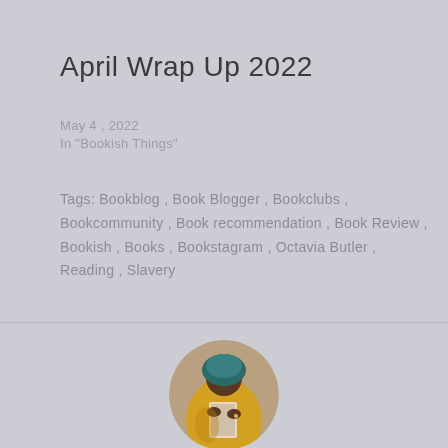April Wrap Up 2022
May 4, 2022
In "Bookish Things"
Tags:  Bookblog ,  Book Blogger ,  Bookclubs ,  Bookcommunity ,  Book recommendation ,  Book Review ,  Bookish ,  Books ,  Bookstagram ,  Octavia Butler ,  Reading ,  Slavery
[Figure (photo): Circular avatar photo of a person in a yellow jacket holding a book with a teal headscarf]
POSTED BY:
bookishnaijagal27